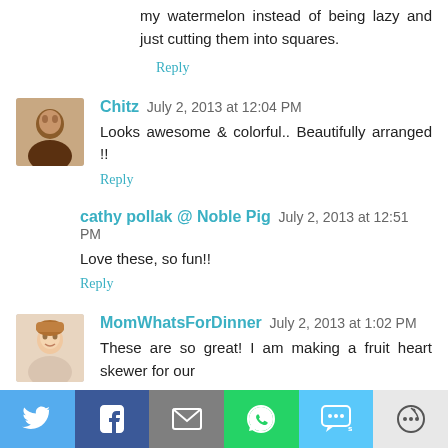my watermelon instead of being lazy and just cutting them into squares.
Reply
Chitz July 2, 2013 at 12:04 PM
Looks awesome & colorful.. Beautifully arranged !!
Reply
cathy pollak @ Noble Pig July 2, 2013 at 12:51 PM
Love these, so fun!!
Reply
[Figure (photo): Avatar photo of MomWhatsForDinner commenter]
MomWhatsForDinner July 2, 2013 at 1:02 PM
These are so great! I am making a fruit heart skewer for our
[Figure (infographic): Social sharing bar with Twitter, Facebook, Email, WhatsApp, SMS, and More buttons]